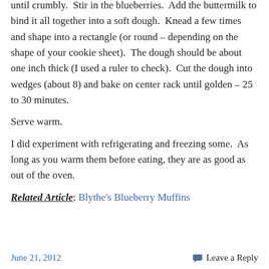until crumbly.  Stir in the blueberries.  Add the buttermilk to bind it all together into a soft dough.  Knead a few times and shape into a rectangle (or round – depending on the shape of your cookie sheet).  The dough should be about one inch thick (I used a ruler to check).  Cut the dough into wedges (about 8) and bake on center rack until golden – 25 to 30 minutes.
Serve warm.
I did experiment with refrigerating and freezing some.  As long as you warm them before eating, they are as good as out of the oven.
Related Article: Blythe's Blueberry Muffins
June 21, 2012   Leave a Reply